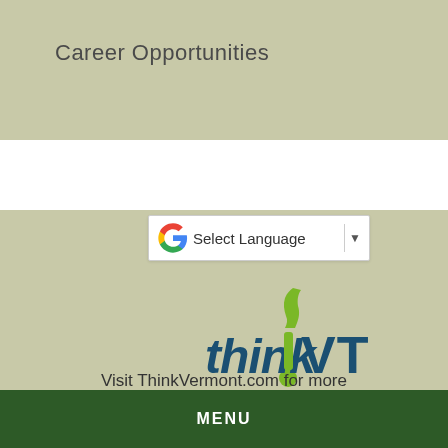Career Opportunities
[Figure (screenshot): Google Translate 'Select Language' dropdown widget with Google G logo]
[Figure (logo): ThinkVT logo — 'think!VT' in dark teal with a green Vermont state shape as exclamation point, and ThinkVermont.com in green below]
Visit ThinkVermont.com for more inspiration and information on living, working and doing business in Vermont
MENU